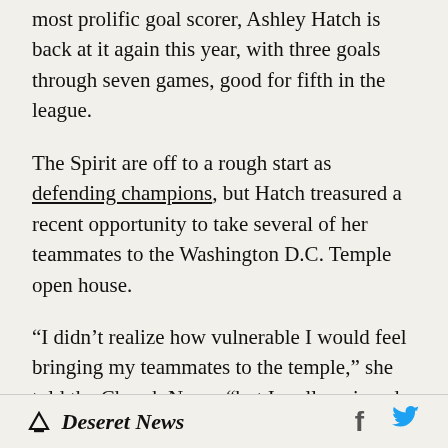most prolific goal scorer, Ashley Hatch is back at it again this year, with three goals through seven games, good for fifth in the league.
The Spirit are off to a rough start as defending champions, but Hatch treasured a recent opportunity to take several of her teammates to the Washington D.C. Temple open house.
“I didn’t realize how vulnerable I would feel bringing my teammates to the temple,” she told the Church News, “but I really enjoyed it. They were all so great to come and support me.”
My recent stories
Deseret News